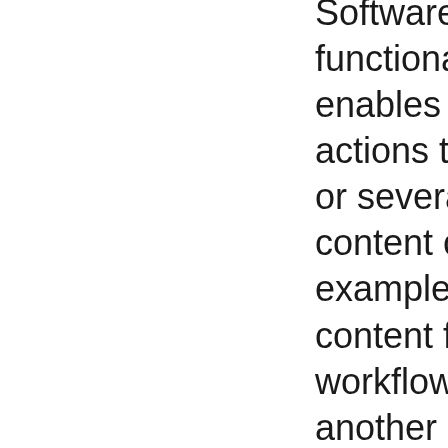Software has added functionality that enables workflow actions to invoke one or several automatic content changes. For example moving content from one workflow state to another could be setup to invoke a copy of the content to be automatically archived for an audit trail and access to edit the content for a group of users to be locked.